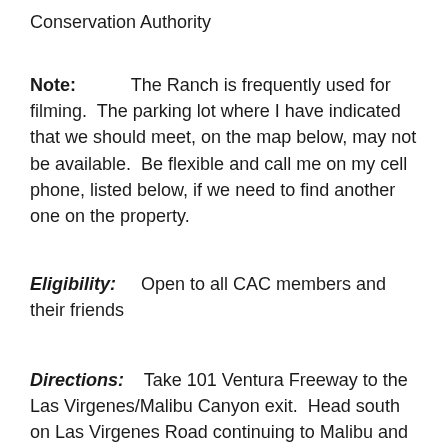Conservation Authority
Note: The Ranch is frequently used for filming. The parking lot where I have indicated that we should meet, on the map below, may not be available. Be flexible and call me on my cell phone, listed below, if we need to find another one on the property.
Eligibility: Open to all CAC members and their friends
Directions: Take 101 Ventura Freeway to the Las Virgenes/Malibu Canyon exit. Head south on Las Virgenes Road continuing to Malibu and then...